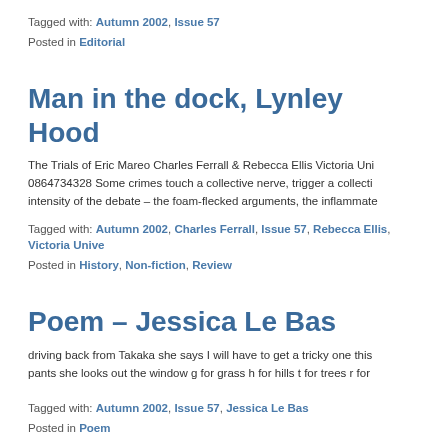Tagged with: Autumn 2002, Issue 57
Posted in Editorial
Man in the dock, Lynley Hood
The Trials of Eric Mareo Charles Ferrall & Rebecca Ellis Victoria Uni 0864734328 Some crimes touch a collective nerve, trigger a collecti intensity of the debate – the foam-flecked arguments, the inflammate
Tagged with: Autumn 2002, Charles Ferrall, Issue 57, Rebecca Ellis, Victoria Unive
Posted in History, Non-fiction, Review
Poem – Jessica Le Bas
driving back from Takaka she says I will have to get a tricky one this pants she looks out the window g for grass h for hills t for trees r for
Tagged with: Autumn 2002, Issue 57, Jessica Le Bas
Posted in Poem